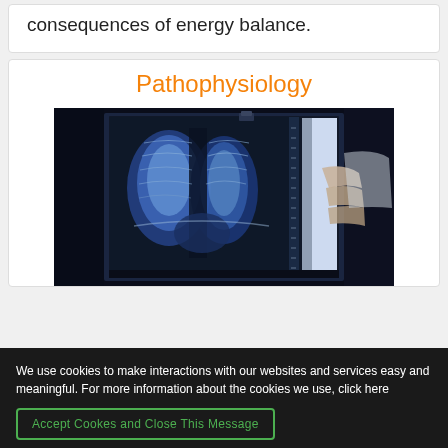consequences of energy balance.
Pathophysiology
[Figure (photo): A doctor or medical professional holding a chest X-ray film up to a light source, showing lungs in blue-toned lighting in a dark room.]
We use cookies to make interactions with our websites and services easy and meaningful. For more information about the cookies we use, click here
Accept Cookes and Close This Message